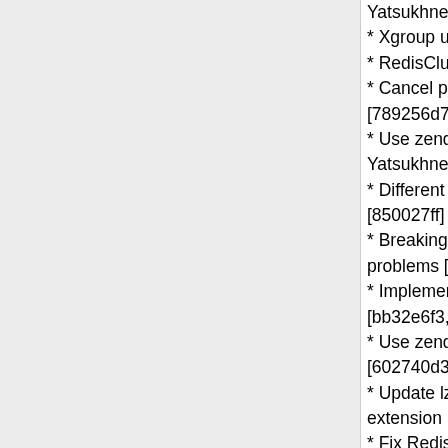Yatsukhnenko)
* Xgroup updates [15995c06] (Micha...
* RedisCluster auth [c5994f2a] (Pavl...
* Cancel pipeline mode without exec... [789256d7] (Pavlo Yatsukhnenko)
* Use zend_string for pipeline_cmd [e... Yatsukhnenko)
* Different key hashing algorithms fro... [850027ff] (Pavlo Yatsukhnenko)
* Breaking the lock acquire loop in ca... problems [61889cd7] (@SkydiveMar...
* Implement consistent hashing algo... [bb32e6f3, 71922bf1] (Pavlo Yatsukh...
* Use zend_string for storing RedisA... [602740d3, 3e7e1c83] (Pavlo Yatsuk...
* Update lzf_compress to be compati... extension [b27fd430] (@jrchamp)
* Fix RedisCluster keys memory leak... (Michael Grunder)
* Directly use return_value in RedisC... [ad10a49e] (Pavlo Yatsukhnenko)
* Fix segfault in Redis Cluster with in... configuration [72749916, 6e455e2e]... Yatsukhnenko)
* Masters info leakfix [91bd7426] (Mi...
* Refactor redis_sock_read_bulk_rep... Yatsukhnenko)
* Remove unused parameter lazy_co...